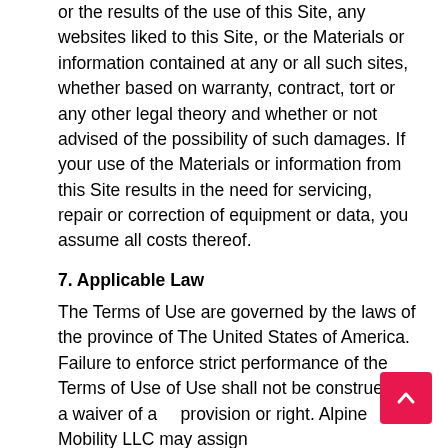or the results of the use of this Site, any websites liked to this Site, or the Materials or information contained at any or all such sites, whether based on warranty, contract, tort or any other legal theory and whether or not advised of the possibility of such damages. If your use of the Materials or information from this Site results in the need for servicing, repair or correction of equipment or data, you assume all costs thereof.
7. Applicable Law
The Terms of Use are governed by the laws of the province of The United States of America. Failure to enforce strict performance of the Terms of Use of Use shall not be construed as a waiver of any provision or right. Alpine Mobility LLC may assign